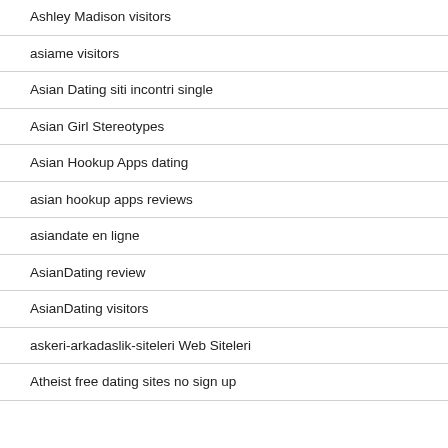Ashley Madison visitors
asiame visitors
Asian Dating siti incontri single
Asian Girl Stereotypes
Asian Hookup Apps dating
asian hookup apps reviews
asiandate en ligne
AsianDating review
AsianDating visitors
askeri-arkadaslik-siteleri Web Siteleri
Atheist free dating sites no sign up